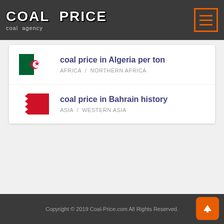COAL PRICE coal agency
coal price in Algeria per ton — AFRICA / NORTHERN AFRICA
coal price in Bahrain history — ASIA / WESTERN ASIA
Copyright © 2019 Coal-Price.com All Rights Reserved.